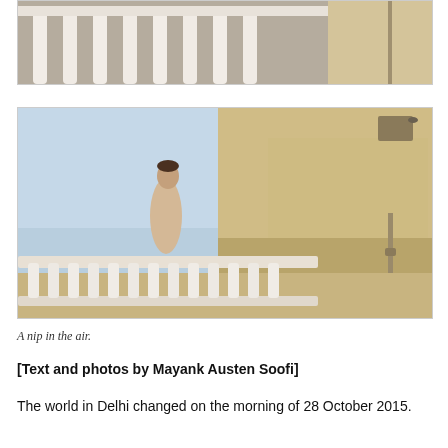[Figure (photo): Partial top view of a balustrade with white spindles and yellow/beige wall, cropped at top of page]
[Figure (photo): A person standing on a terrace with white balustrade railings, looking upward, with a large yellow/beige stone wall behind them and blue sky above]
A nip in the air.
[Text and photos by Mayank Austen Soofi]
The world in Delhi changed on the morning of 28 October 2015.